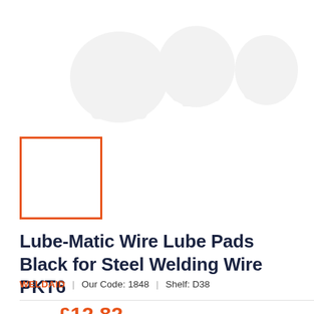[Figure (illustration): Faded ghost/watermark logo image in the upper portion of the product page]
[Figure (other): Orange-bordered empty square box placeholder for product image]
Lube-Matic Wire Lube Pads Black for Steel Welding Wire PKT6
WELDAID | Our Code: 1848 | Shelf: D38
Price: £12.82
Incl. Tax: £15.38